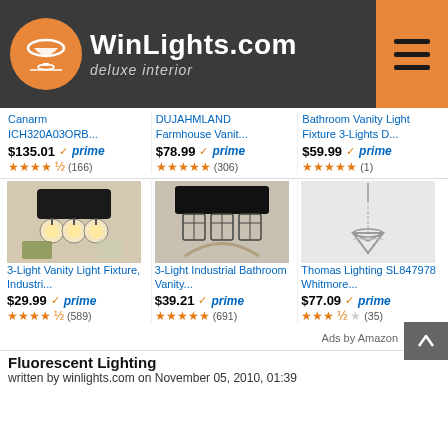WinLights.com deluxe interior
Canarm ICH320A03ORB... $135.01 prime ★★★★½ (166)
DUJAHMLAND Farmhouse Vanit... $78.99 prime ★★★★★ (306)
Bathroom Vanity Light Fixture 3-Lights D... $59.99 prime ★★★★★ (1)
[Figure (photo): 3-light industrial style vanity light fixture with exposed bulbs on dark background]
[Figure (photo): 3-light industrial bathroom vanity light with cage shades mounted above mirror]
[Figure (photo): Thomas Lighting SL847978 Whitmore pendant light fixture on white background]
3-Light Vanity Light Fixture, Industri... $29.99 prime ★★★★½ (589)
3-Light Industrial Bathroom Vanity... $39.21 prime ★★★★★ (691)
Thomas Lighting SL847978 Whitmore... $77.09 prime ★★★★☆ (35)
Ads by Amazon
Fluorescent Lighting
written by winlights.com on November 05, 2010, 01:39